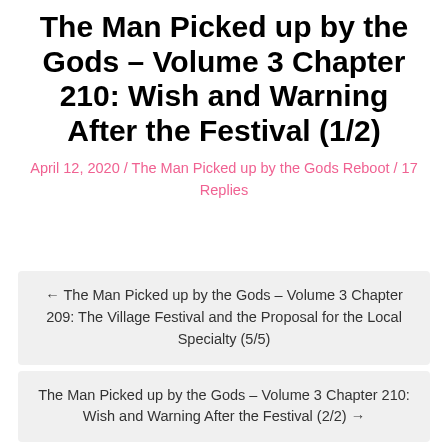The Man Picked up by the Gods – Volume 3 Chapter 210: Wish and Warning After the Festival (1/2)
April 12, 2020 / The Man Picked up by the Gods Reboot / 17 Replies
← The Man Picked up by the Gods – Volume 3 Chapter 209: The Village Festival and the Proposal for the Local Specialty (5/5)
The Man Picked up by the Gods – Volume 3 Chapter 210: Wish and Warning After the Festival (2/2) →